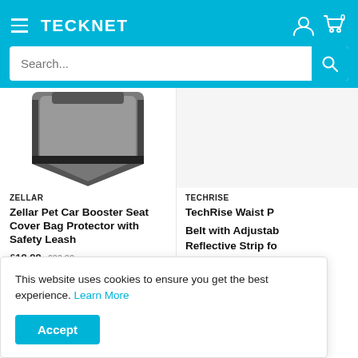TECKNET
Search...
[Figure (photo): Zellar Pet Car Booster Seat Cover Bag product photo, grey bag with black trim visible from above]
ZELLAR
Zellar Pet Car Booster Seat Cover Bag Protector with Safety Leash
£19.99  £33.00
TECHRISE
TechRise Waist P... Belt with Adjustab... Reflective Strip fo...
This website uses cookies to ensure you get the best experience. Learn More
Accept